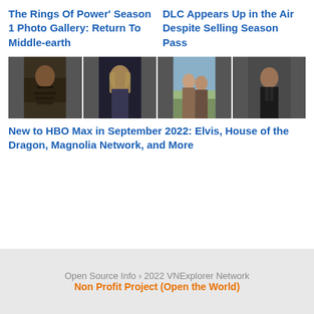The Rings Of Power' Season 1 Photo Gallery: Return To Middle-earth
DLC Appears Up in the Air Despite Selling Season Pass
[Figure (photo): A horizontal strip of four photos showing different characters/people: a guitarist, a blonde fantasy character, two people outdoors, and a man in a suit.]
New to HBO Max in September 2022: Elvis, House of the Dragon, Magnolia Network, and More
Open Source Info › 2022 VNExplorer Network
Non Profit Project (Open the World)